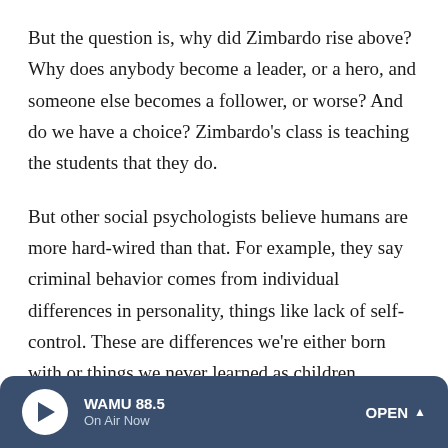But the question is, why did Zimbardo rise above? Why does anybody become a leader, or a hero, and someone else becomes a follower, or worse? And do we have a choice? Zimbardo's class is teaching the students that they do.
But other social psychologists believe humans are more hard-wired than that. For example, they say criminal behavior comes from individual differences in personality, things like lack of self-control. These are differences we're either born with or things we never learned as children.
Augustine Brannigan, who studies criminal behavior at the University of Calgary in Canada, is one of these people. When asked what he thinks of the idea of a heroism class, he
WAMU 88.5 On Air Now OPEN